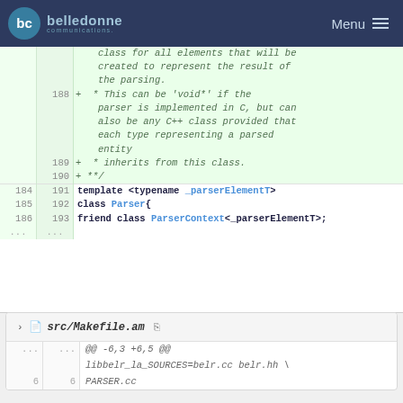belledonne communications — Menu
[Figure (screenshot): Code diff view showing C++ Parser class template definition with added comment lines 188-190 and existing lines 184-193 with template, class Parser, friend class ParserContext declarations]
src/Makefile.am
[Figure (screenshot): Code diff showing Makefile.am changes at line -6,3 +6,5 with libbelr_la_SOURCES=belr.cc belr.hh content]